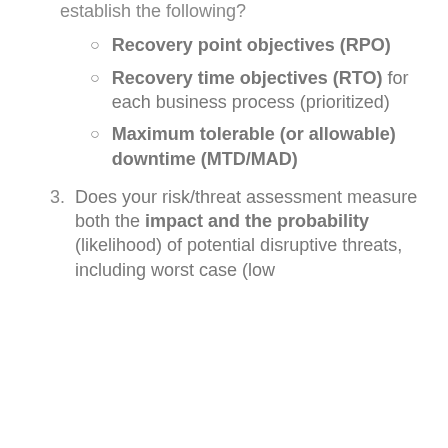establish the following?
Recovery point objectives (RPO)
Recovery time objectives (RTO) for each business process (prioritized)
Maximum tolerable (or allowable) downtime (MTD/MAD)
Does your risk/threat assessment measure both the impact and the probability (likelihood) of potential disruptive threats, including worst case (low